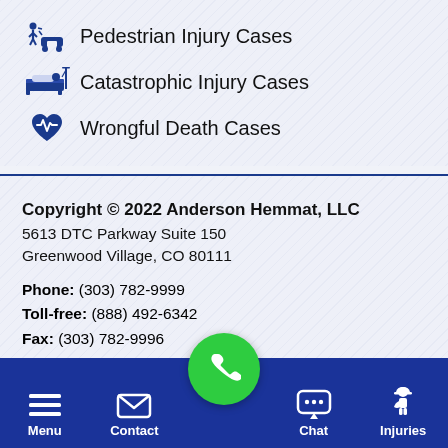Pedestrian Injury Cases
Catastrophic Injury Cases
Wrongful Death Cases
Copyright © 2022 Anderson Hemmat, LLC
5613 DTC Parkway Suite 150
Greenwood Village, CO 80111
Phone: (303) 782-9999
Toll-free: (888) 492-6342
Fax: (303) 782-9996
The information on this website is for general information purposes only. No information should be taken as legal advice for any individual case or situation. Viewing this website or submitting information does not constitute, an attorney-client relationship.
Menu  Contact  [Call]  Chat  Injuries